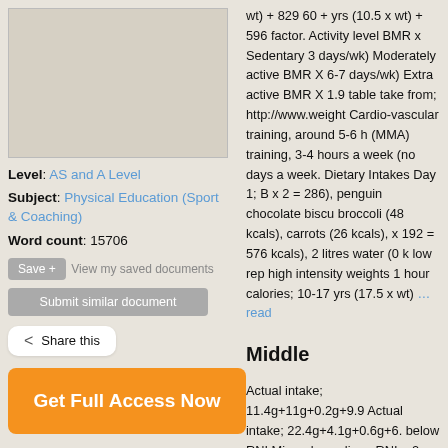[Figure (other): Blank/placeholder document image box]
Level: AS and A Level
Subject: Physical Education (Sport & Coaching)
Word count: 15706
Save +  View my saved documents
Submit similar document
Share this
Get Full Access Now
wt) + 829 60 + yrs (10.5 x wt) + 596 factor. Activity level BMR x Sedentary 3 days/wk) Moderately active BMR X 6-7 days/wk) Extra active BMR X 1.9 table take from; http://www.weight Cardio-vascular training, around 5-6 h (MMA) training, 3-4 hours a week (no days a week. Dietary Intakes Day 1; B x 2 = 286), penguin chocolate biscu broccoli (48 kcals), carrots (26 kcals), x 192 = 576 kcals), 2 litres water (0 k low rep high intensity weights 1 hour calories; 10-17 yrs (17.5 x wt) …read
Middle
Actual intake; 11.4g+11g+0.2g+9.9 Actual intake; 22.4g+4.1g+0.6g+6. below RNI Minerals; sodium; RNI = 2 above RNI Minerals; sodium; RNI = 2 (Thiamine) B1 RNI; 1.5 milligrams 0.0 0.16=1.34mg below RNI (Ascorbic A intake; 60-41=19mg below RNI Wat Carter Fluid Feeding Christopher rare some water will have been gained fro the mentioned diet no competition w regime. I recommend on the days th